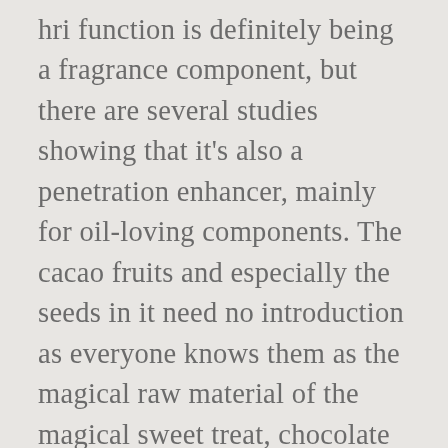hri function is definitely being a fragrance component, but there are several studies showing that it's also a penetration enhancer, mainly for oil-loving components. The cacao fruits and especially the seeds in it need no introduction as everyone knows them as the magical raw material of the magical sweet treat, chocolate (the flavour is composed of more than 1200(!) This Pure Sugar Scrub is made of three naturally derived sugars (brown, blonde & white) and enhanced with real Kiwi Seeds. It autoxidizes on air exposure and counts as a common skin sensitizer. Our 21 Best Hair Care Tips For Every Hair Type, EVERPURE Brass Toning Purple Sulfate Free Shampoo. ELVIVE Color Vibrancy Rapid